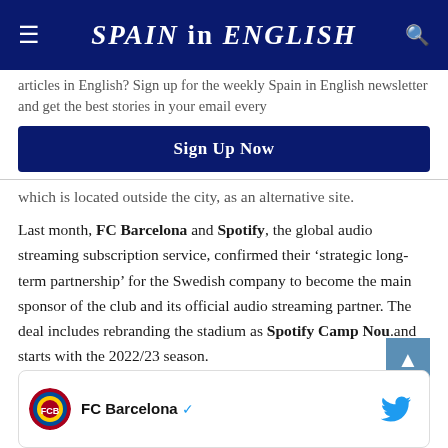SPAIN in ENGLISH
articles in English? Sign up for the weekly Spain in English newsletter and get the best stories in your email every
Sign Up Now
which is located outside the city, as an alternative site.
Last month, FC Barcelona and Spotify, the global audio streaming subscription service, confirmed their ‘strategic long-term partnership’ for the Swedish company to become the main sponsor of the club and its official audio streaming partner. The deal includes rebranding the stadium as Spotify Camp Nou.and starts with the 2022/23 season.
[Figure (screenshot): FC Barcelona Twitter card with verified badge and Twitter bird logo]